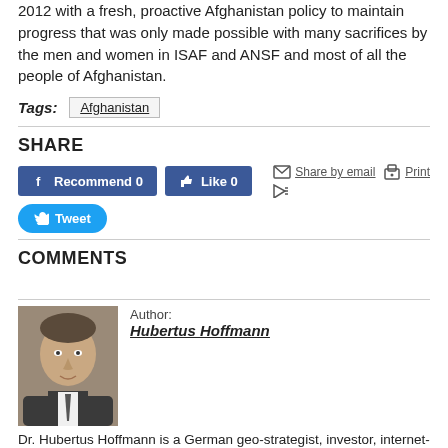2012 with a fresh, proactive Afghanistan policy to maintain progress that was only made possible with many sacrifices by the men and women in ISAF and ANSF and most of all the people of Afghanistan.
Tags: Afghanistan
SHARE
[Figure (screenshot): Social share buttons: Facebook Recommend 0, Like 0, Twitter Tweet, Share by email, Print, and a flag icon]
COMMENTS
[Figure (photo): Author photo of Hubertus Hoffmann, a middle-aged man in a suit]
Author: Hubertus Hoffmann
Dr. Hubertus Hoffmann is a German geo-strategist, investor, internet-pioneer based in Berlin. His three main focuses as a philanthropist are: - 'Networking a Safer World', with the largest global elite network in foreign affairs, the